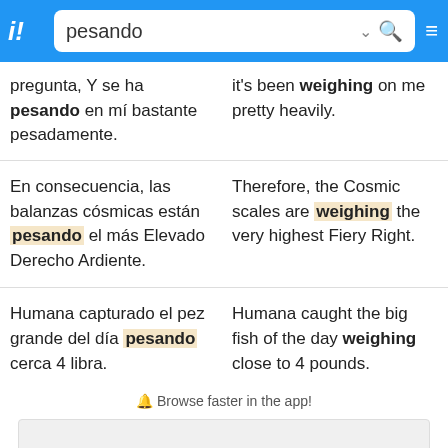pesando
pregunta, Y se ha pesando en mí bastante pesadamente.
it's been weighing on me pretty heavily.
En consecuencia, las balanzas cósmicas están pesando el más Elevado Derecho Ardiente.
Therefore, the Cosmic scales are weighing the very highest Fiery Right.
Humana capturado el pez grande del día pesando cerca 4 libra.
Humana caught the big fish of the day weighing close to 4 pounds.
🔔 Browse faster in the app!